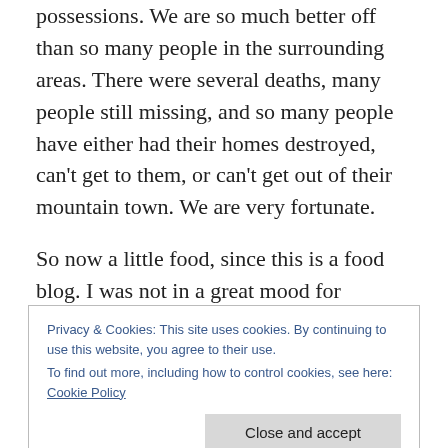possessions. We are so much better off than so many people in the surrounding areas. There were several deaths, many people still missing, and so many people have either had their homes destroyed, can't get to them, or can't get out of their mountain town. We are very fortunate.
So now a little food, since this is a food blog. I was not in a great mood for cooking over the weekend. So I was really looking for something easy to throw together that was still healthier than the snack food I'd been eating off and on
Privacy & Cookies: This site uses cookies. By continuing to use this website, you agree to their use.
To find out more, including how to control cookies, see here: Cookie Policy
Close and accept
fire roasted tomatoes, and decided I'd make something